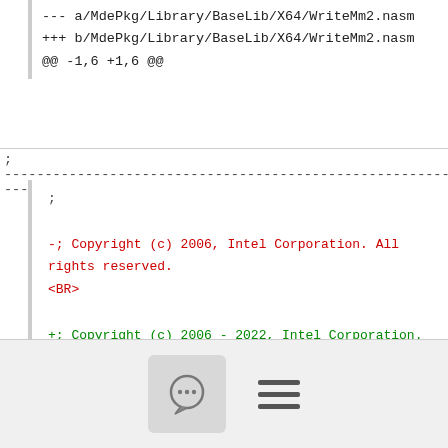--- a/MdePkg/Library/BaseLib/X64/WriteMm2.nasm
+++ b/MdePkg/Library/BaseLib/X64/WriteMm2.nasm
@@ -1,6 +1,6 @@
;-------------------------------------------------------------------------------
---
;
-; Copyright (c) 2006, Intel Corporation. All rights reserved.<BR>
+; Copyright (c) 2006 - 2022, Intel Corporation. All rights reserved.<BR>
 ; SPDX-License-Identifier: BSD-2-Clause-Patent
 ;
[Figure (screenshot): Bottom navigation bar with chat bubble icon button and hamburger menu icon]